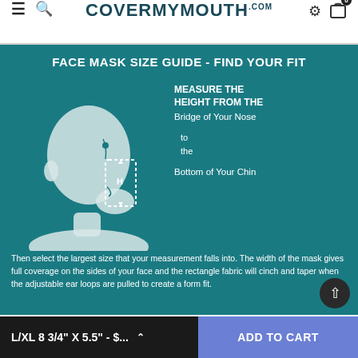CoverMyMouth.com
FACE MASK SIZE GUIDE - FIND YOUR FIT
[Figure (illustration): Side profile illustration of a bald person with a rectangular face mask outline shown over the nose-to-chin area, with an 'H' label indicating height measurement from bridge of nose to bottom of chin.]
MEASURE THE HEIGHT FROM THE Bridge of Your Nose to the Bottom of Your Chin
Then select the largest size that your measurement falls into. The width of the mask gives full coverage on the sides of your face and the rectangle fabric will cinch and taper when the adjustable ear loops are pulled to create a form fit.
L/XL 8 3/4" X 5.5" - $...  ADD TO CART